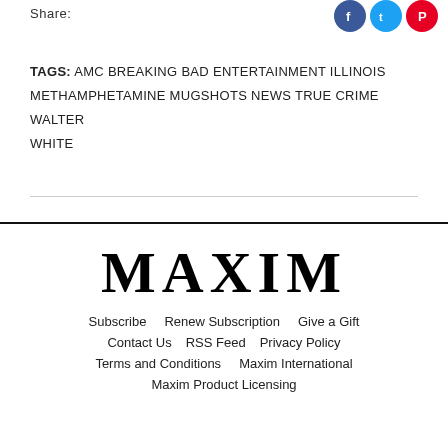Share:
[Figure (illustration): Three social media share buttons: Facebook (blue circle), Twitter (light blue circle), Pinterest (red circle)]
TAGS: AMC  BREAKING BAD  ENTERTAINMENT  ILLINOIS  METHAMPHETAMINE  MUGSHOTS  NEWS  TRUE CRIME  WALTER WHITE
MAXIM
Subscribe    Renew Subscription    Give a Gift    Contact Us    RSS Feed    Privacy Policy    Terms and Conditions    Maxim International    Maxim Product Licensing